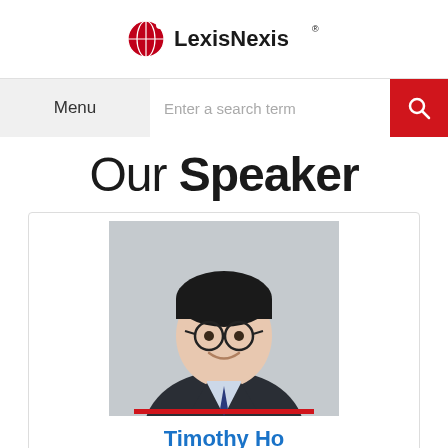[Figure (logo): LexisNexis logo with red globe icon and bold text 'LexisNexis']
Menu | Enter a search term | [search button]
Our Speaker
[Figure (photo): Professional headshot of Timothy Ho, a young Asian man wearing glasses and a dark suit with a tie, smiling. A red bar appears at the bottom of the photo.]
Timothy Ho
Customer Experience & Business Development Manager, LexisNexis Legal & Professional, Hong Kong &